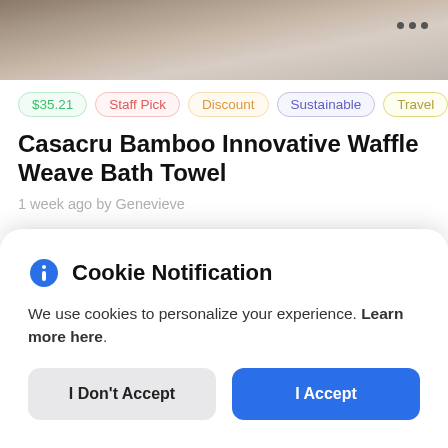[Figure (photo): Partial product photo at top, showing a bowl and hand on a dark surface, with three dots menu icon in upper right]
$35.21  Staff Pick  Discount  Sustainable  Travel
Casacru Bamboo Innovative Waffle Weave Bath Towel
1 week ago by Genevieve
[Figure (logo): Kickstarter-like green circle logo on a grey gradient card background]
Cookie Notification
We use cookies to personalize your experience. Learn more here.
I Don't Accept  I Accept